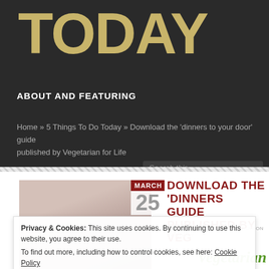TODAY
ABOUT AND FEATURING
Home » 5 Things To Do Today » Download the 'dinners to your door' guide published by Vegetarian for Life
[Figure (screenshot): Website screenshot showing an article thumbnail with a woman and a date badge reading MARCH 25]
DOWNLOAD THE 'DINNERS GUIDE PUBLISHED BY VEG
POSTED BY 5THINGSTODOTODAY ON 25/03/20
COMMENT
Privacy & Cookies: This site uses cookies. By continuing to use this website, you agree to their use.
To find out more, including how to control cookies, see here: Cookie Policy
Close and accept
Vegetarian